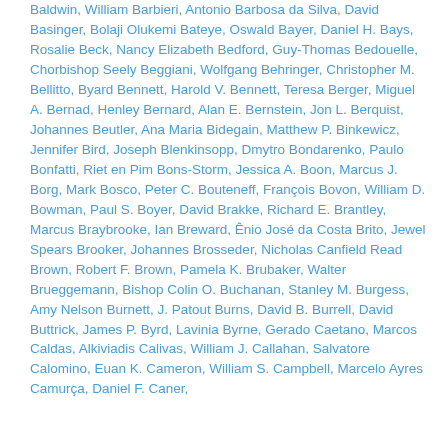Baldwin, William Barbieri, Antonio Barbosa da Silva, David Basinger, Bolaji Olukemi Bateye, Oswald Bayer, Daniel H. Bays, Rosalie Beck, Nancy Elizabeth Bedford, Guy-Thomas Bedouelle, Chorbishop Seely Beggiani, Wolfgang Behringer, Christopher M. Bellitto, Byard Bennett, Harold V. Bennett, Teresa Berger, Miguel A. Bernad, Henley Bernard, Alan E. Bernstein, Jon L. Berquist, Johannes Beutler, Ana Maria Bidegain, Matthew P. Binkewicz, Jennifer Bird, Joseph Blenkinsopp, Dmytro Bondarenko, Paulo Bonfatti, Riet en Pim Bons-Storm, Jessica A. Boon, Marcus J. Borg, Mark Bosco, Peter C. Bouteneff, François Bovon, William D. Bowman, Paul S. Boyer, David Brakke, Richard E. Brantley, Marcus Braybrooke, Ian Breward, Ênio José da Costa Brito, Jewel Spears Brooker, Johannes Brosseder, Nicholas Canfield Read Brown, Robert F. Brown, Pamela K. Brubaker, Walter Brueggemann, Bishop Colin O. Buchanan, Stanley M. Burgess, Amy Nelson Burnett, J. Patout Burns, David B. Burrell, David Buttrick, James P. Byrd, Lavinia Byrne, Gerado Caetano, Marcos Caldas, Alkiviadis Calivas, William J. Callahan, Salvatore Calomino, Euan K. Cameron, William S. Campbell, Marcelo Ayres Camurça, Daniel F. Caner,